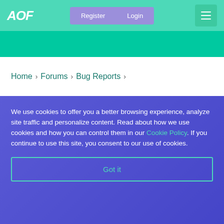AOF | Register | Login | ☰
Home › Forums › Bug Reports ›
We use cookies to offer you a better browsing experience, analyze site traffic and personalize content. Read about how we use cookies and how you can control them in our Cookie Policy. If you continue to use this site, you consent to our use of cookies.
Got it